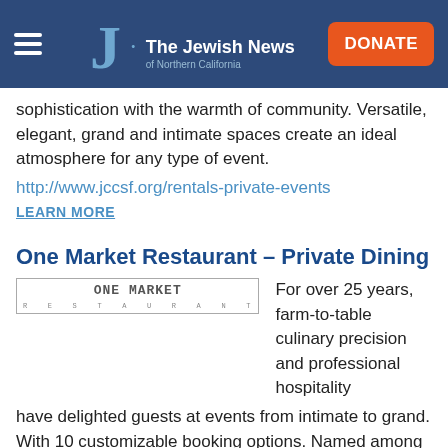The Jewish News of Northern California
sophistication with the warmth of community. Versatile, elegant, grand and intimate spaces create an ideal atmosphere for any type of event.
http://www.jccsf.org/rentals-private-events
LEARN MORE
One Market Restaurant – Private Dining
For over 25 years, farm-to-table culinary precision and professional hospitality have delighted guests at events from intimate to grand. With 10 customizable booking options. Named among top 10 American restaurants by Gayot Guide.
http://onemarket.com
LEARN MORE